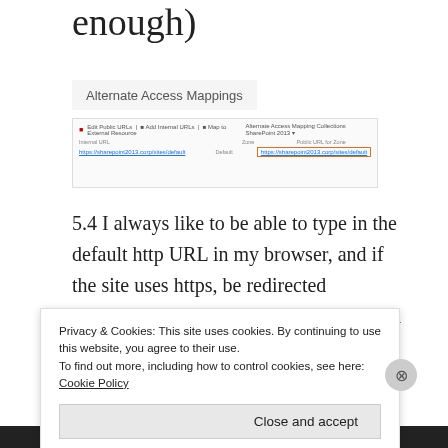enough)
Alternate Access Mappings
[Figure (screenshot): Screenshot of SharePoint Alternate Access Mappings admin page showing Internal URL and Public URL for Zone fields, with an orange-bordered highlight on the Public URL https://sharepoint2013.corp/sites/default]
5.4 I always like to be able to type in the default http URL in my browser, and if the site uses https, be redirected automatically. This is rather easy to do in SharePoint, simply add an Internal URL using http and add it to the Default zone which will direct us to the Public URL using https. It
Privacy & Cookies: This site uses cookies. By continuing to use this website, you agree to their use.
To find out more, including how to control cookies, see here: Cookie Policy
Close and accept